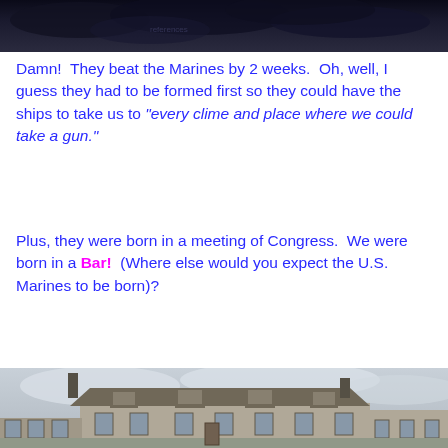[Figure (photo): Dark stormy sky photo strip at the top of the page]
Damn!  They beat the Marines by 2 weeks.  Oh, well, I guess they had to be formed first so they could have the ships to take us to “every clime and place where we could take a gun.”
Plus, they were born in a meeting of Congress.  We were born in a Bar!  (Where else would you expect the U.S. Marines to be born)?
[Figure (photo): Black and white historical illustration of a colonial-era building, likely a tavern or inn]